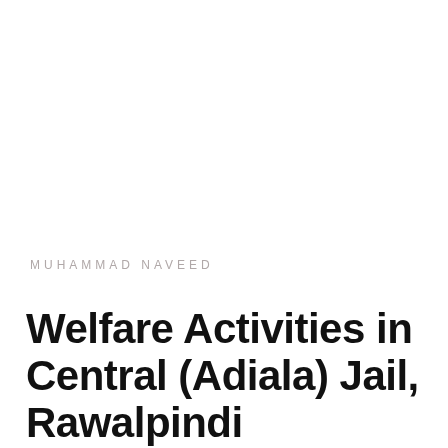MUHAMMAD NAVEED
Welfare Activities in Central (Adiala) Jail, Rawalpindi